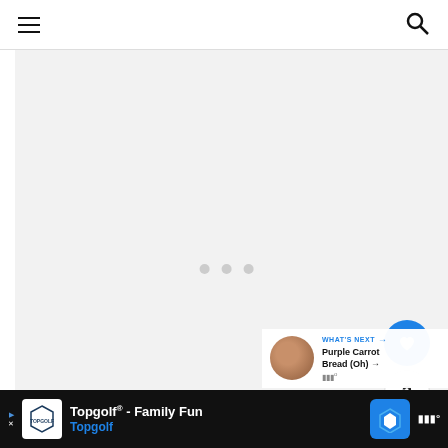[Figure (screenshot): Website interface showing a navigation bar at top with hamburger menu icon on the left and search icon on the right, a large light gray content/image area in the center with three loading dots, social action buttons on the right (heart/like button in blue, count badge showing 3, share button), a 'What's Next' panel in the lower right showing a Purple Carrot Bread thumbnail, and an advertisement banner at the bottom for Topgolf Family Fun.]